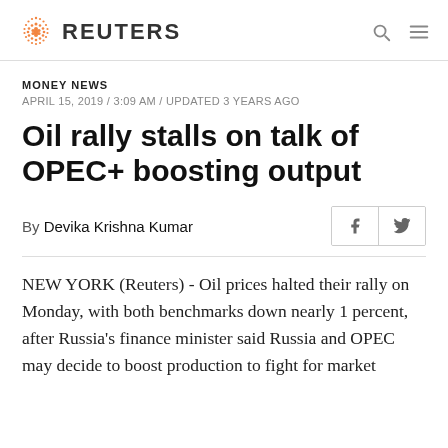REUTERS
MONEY NEWS
APRIL 15, 2019 / 3:09 AM / UPDATED 3 YEARS AGO
Oil rally stalls on talk of OPEC+ boosting output
By Devika Krishna Kumar
NEW YORK (Reuters) - Oil prices halted their rally on Monday, with both benchmarks down nearly 1 percent, after Russia's finance minister said Russia and OPEC may decide to boost production to fight for market